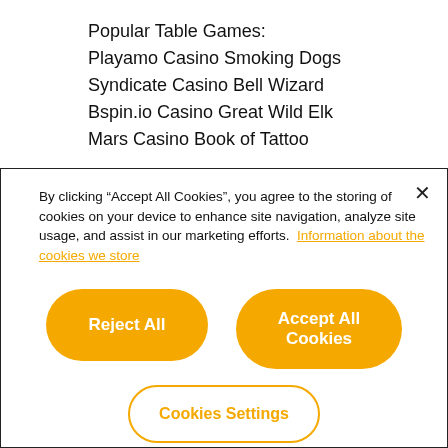Popular Table Games:
Playamo Casino Smoking Dogs
Syndicate Casino Bell Wizard
Bspin.io Casino Great Wild Elk
Mars Casino Book of Tattoo
By clicking “Accept All Cookies”, you agree to the storing of cookies on your device to enhance site navigation, analyze site usage, and assist in our marketing efforts. Information about the cookies we store
Reject All
Accept All Cookies
Cookies Settings